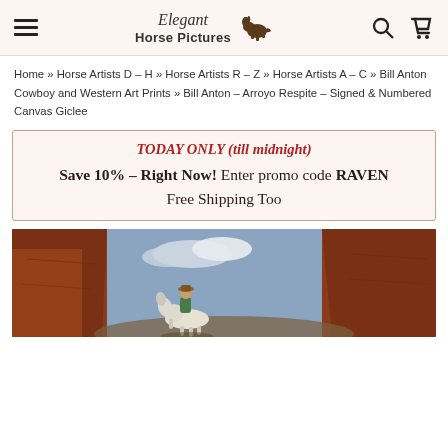Elegant Horse Pictures — navigation header with hamburger menu, logo, search and cart icons
Home » Horse Artists D – H » Horse Artists R – Z » Horse Artists A – C » Bill Anton Cowboy and Western Art Prints » Bill Anton – Arroyo Respite – Signed & Numbered Canvas Giclee
TODAY ONLY (till midnight)
Save 10% – Right Now! Enter promo code RAVEN
Free Shipping Too
[Figure (photo): Western painting showing a cowboy on a white horse in a red rock canyon with blue sky]